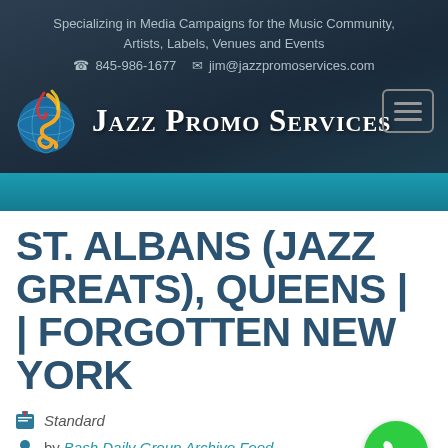Specializing in Media Campaigns for the Music Community, Artists, Labels, Venues and Events
☎ 845-986-1677 ✉ jim@jazzpromoservices.com
[Figure (logo): Jazz Promo Services logo with colorful treble clef over globe icon and text 'Jazz Promo Services' in white small-caps serif font on dark blue background]
ST. ALBANS (JAZZ GREATS), QUEENS |  | FORGOTTEN NEW YORK
📌 Standard
by Bash Daily Group Archive Feed
August 26, 2015